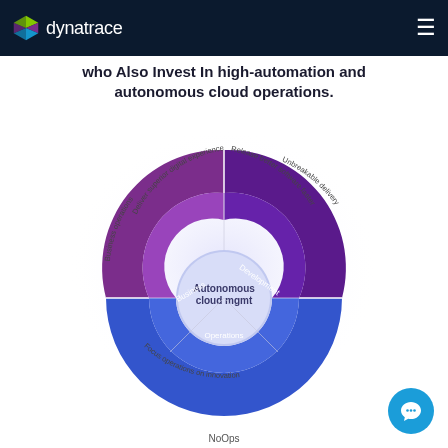dynatrace
who Also Invest In high-automation and autonomous cloud operations.
[Figure (infographic): Circular donut diagram showing Autonomous cloud mgmt at center, with three sections: Business (Deliver superior digital experiences / Business operations), Development (Release better software faster / Unbreakable delivery), and Operations (Focus operations on innovation / NoOps).]
NoOps